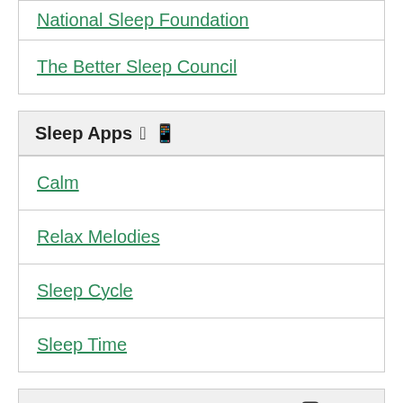National Sleep Foundation
The Better Sleep Council
Sleep Apps
Calm
Relax Melodies
Sleep Cycle
Sleep Time
Instagram Accounts to Follow
healthycomets The Instagram account of the UTD